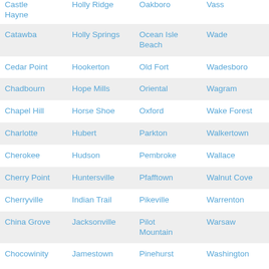| Castle Hayne | Holly Ridge | Oakboro | Vass |
| Catawba | Holly Springs | Ocean Isle Beach | Wade |
| Cedar Point | Hookerton | Old Fort | Wadesboro |
| Chadbourn | Hope Mills | Oriental | Wagram |
| Chapel Hill | Horse Shoe | Oxford | Wake Forest |
| Charlotte | Hubert | Parkton | Walkertown |
| Cherokee | Hudson | Pembroke | Wallace |
| Cherry Point | Huntersville | Pfafftown | Walnut Cove |
| Cherryville | Indian Trail | Pikeville | Warrenton |
| China Grove | Jacksonville | Pilot Mountain | Warsaw |
| Chocowinity | Jamestown | Pinehurst | Washington |